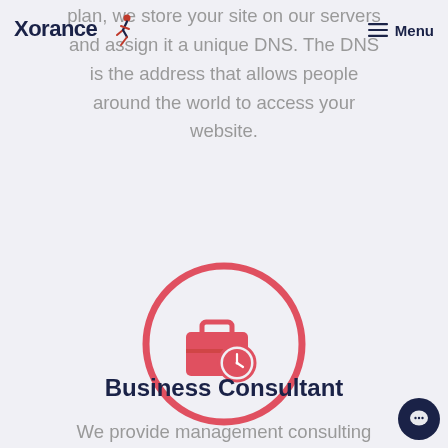Xorance [logo] | Menu
plan, we store your site on our servers and assign it a unique DNS. The DNS is the address that allows people around the world to access your website.
[Figure (illustration): Red circle outline containing a business consultant icon: briefcase with a clock overlay, in red/coral color on light gray background]
Business Consultant
We provide management consulting